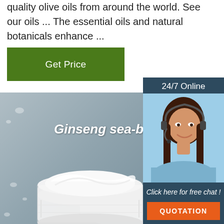quality olive oils from around the world. See our oils ... The essential oils and natural botanicals enhance ...
Get Price
[Figure (photo): Photo of open white cosmetic cream jar with lid beside it on blue-gray background with water drops, labeled 'Ginseng sea-buckthorn cr...' and a TOP watermark in bottom right]
[Figure (infographic): Chat widget with '24/7 Online' header, photo of smiling woman with headset, 'Click here for free chat!' text, and orange QUOTATION button]